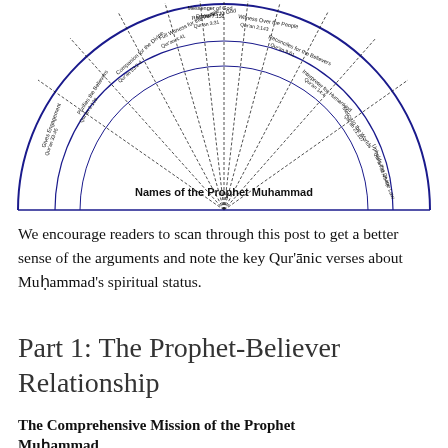[Figure (other): Semicircular diagram showing Names of the Prophet Muhammad, with radiating spokes containing text labels in a wheel/fan arrangement, outlined in dark blue]
Names of the Prophet Muhammad
We encourage readers to scan through this post to get a better sense of the arguments and note the key Qur'ānic verses about Muḥammad's spiritual status.
Part 1: The Prophet-Believer Relationship
The Comprehensive Mission of the Prophet Muḥammad